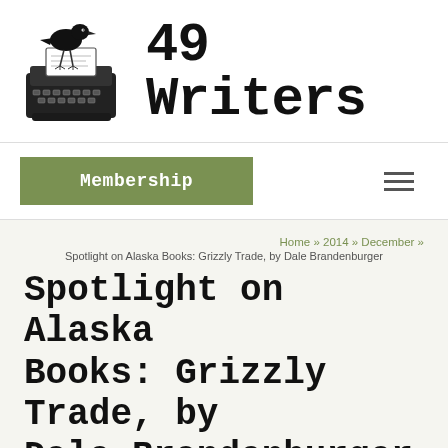[Figure (logo): 49 Writers website logo: black and white illustration of a crow perched on a typewriter, with bold typewriter-font text '49 Writers' to the right]
Membership
≡
Home » 2014 » December »
Spotlight on Alaska Books: Grizzly Trade, by Dale Brandenburger
Spotlight on Alaska Books: Grizzly Trade, by Dale Brandenburger